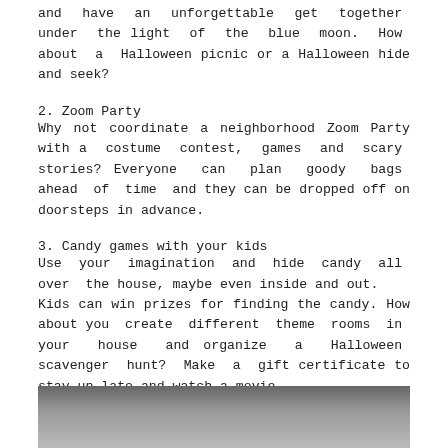and have an unforgettable get together under the light of the blue moon. How about a Halloween picnic or a Halloween hide and seek?
2. Zoom Party
Why not coordinate a neighborhood Zoom Party with a costume contest, games and scary stories? Everyone can plan goody bags ahead of time and they can be dropped off on doorsteps in advance.
3. Candy games with your kids
Use your imagination and hide candy all over the house, maybe even inside and out.
Kids can win prizes for finding the candy. How about you create different theme rooms in your house and organize a Halloween scavenger hunt? Make a gift certificate to stay up late and watch a movie.
[Figure (photo): Bottom portion of an image, partially visible, appears to show Halloween-related content.]